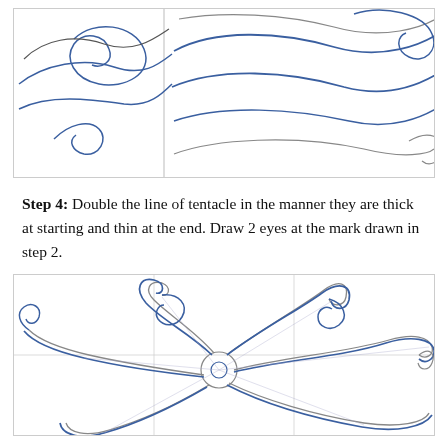[Figure (illustration): Drawing tutorial illustration showing two panels side by side with curling octopus tentacles drawn in blue and gray pencil lines, depicting an early step in drawing an octopus.]
Step 4: Double the line of tentacle in the manner they are thick at starting and thin at the end. Draw 2 eyes at the mark drawn in step 2.
[Figure (illustration): Drawing tutorial illustration showing a full octopus sketch with multiple curling tentacles spreading outward from a central body, drawn in blue and gray pencil lines on a grid background.]